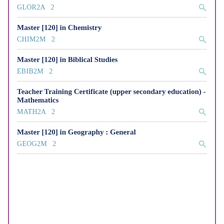GLOR2A  2
Master [120] in Chemistry
CHIM2M  2
Master [120] in Biblical Studies
EBIB2M  2
Teacher Training Certificate (upper secondary education) - Mathematics
MATH2A  2
Master [120] in Geography : General
GEOG2M  2